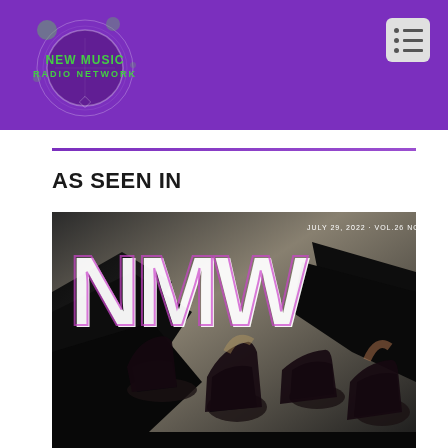[Figure (logo): New Music Radio Network logo — circular design with green text on purple background]
AS SEEN IN
[Figure (photo): NMW magazine cover dated July 29, 2022 Vol.26 No.2, featuring four K-pop female artists (BLACKPINK) posed against dark fabric backdrop, with large white NMW letters at top]